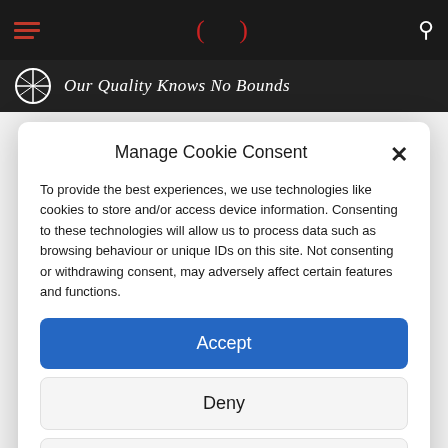Navigation bar with hamburger menu, logo parentheses, and search icon
[Figure (logo): Brand bar with circular logo and tagline 'Our Quality Knows No Bounds']
Manage Cookie Consent
To provide the best experiences, we use technologies like cookies to store and/or access device information. Consenting to these technologies will allow us to process data such as browsing behaviour or unique IDs on this site. Not consenting or withdrawing consent, may adversely affect certain features and functions.
Accept
Deny
View preferences